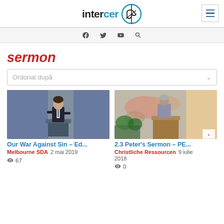intercer [logo] [hamburger menu]
[Figure (screenshot): Website header with intercer logo (text + circular icon) and hamburger menu icon on the right]
[Figure (screenshot): Social media icons bar: Facebook, Twitter, YouTube, Search]
sermon
Ordonat după [dropdown]
[Figure (photo): Video thumbnail: young man in suit speaking at a podium in a church setting, dark blue curtain background]
Our War Against Sin – Ed...
Melbourne SDA  2 mai 2019
👁 67
[Figure (photo): Video thumbnail: older man speaking at a wooden podium with a map on the wall, plants in foreground, SDA logo visible]
2.3 Peter's Sermon – PE...
Christliche Ressourcen  9 iulie 2018
👁 0